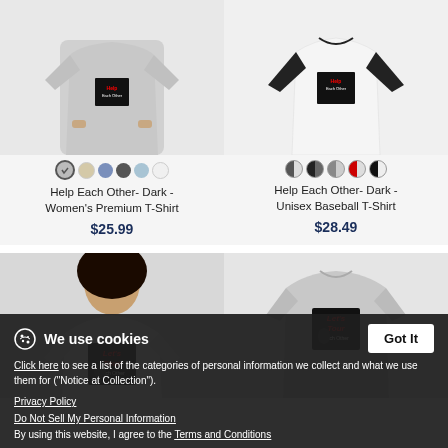[Figure (photo): Women's Premium T-Shirt with Help Each Other dark design, gray/white variant shown on female model]
[Figure (photo): Unisex Baseball T-Shirt with Help Each Other dark design, white/black sleeves variant shown]
Help Each Other- Dark - Women's Premium T-Shirt
$25.99
Help Each Other- Dark - Unisex Baseball T-Shirt
$28.49
[Figure (photo): Women's white T-Shirt with Let's Tour Each Other design on female model]
[Figure (photo): Gray women's T-Shirt with Let's Tour Each Other design, no model shown]
We use cookies
Click here to see a list of the categories of personal information we collect and what we use them for ("Notice at Collection").
Privacy Policy
Do Not Sell My Personal Information
By using this website, I agree to the Terms and Conditions